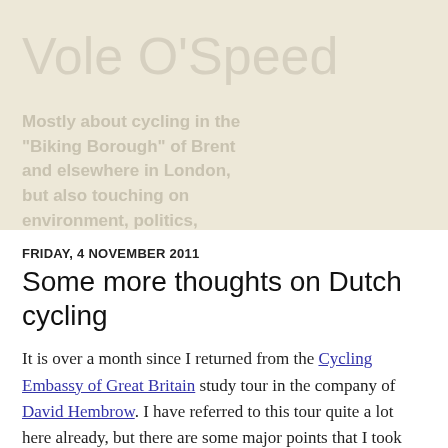Vole O'Speed
Mostly about cycling in the "Biking Borough" of Brent and elsewhere in London, but also touching on environment, politics, philosophy, science, society, music and art
FRIDAY, 4 NOVEMBER 2011
Some more thoughts on Dutch cycling
It is over a month since I returned from the Cycling Embassy of Great Britain study tour in the company of David Hembrow. I have referred to this tour quite a lot here already, but there are some major points that I took from it that I have not covered, and, in the light of a suddenly increased interest